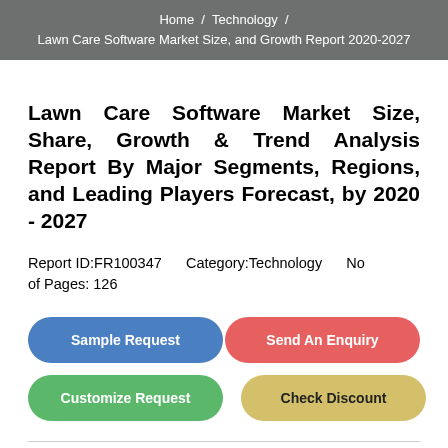Home / Technology / Lawn Care Software Market Size, and Growth Report 2020-2027
Lawn Care Software Market Size, Share, Growth & Trend Analysis Report By Major Segments, Regions, and Leading Players Forecast, by 2020 - 2027
Report ID:FR100347   Category:Technology   No of Pages: 126
[Figure (other): Four action buttons: Sample Request (blue), Send An Enquiry (red/pink), Customize Request (green), Check Discount (yellow)]
Summary   Table Of Contents